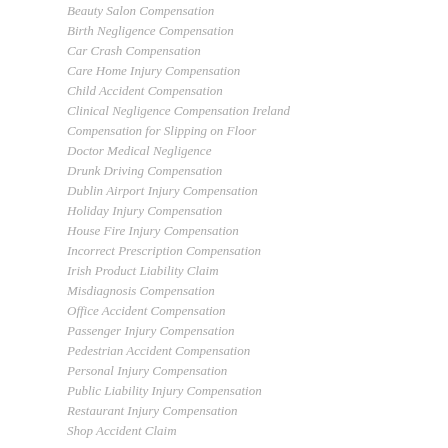Beauty Salon Compensation
Birth Negligence Compensation
Car Crash Compensation
Care Home Injury Compensation
Child Accident Compensation
Clinical Negligence Compensation Ireland
Compensation for Slipping on Floor
Doctor Medical Negligence
Drunk Driving Compensation
Dublin Airport Injury Compensation
Holiday Injury Compensation
House Fire Injury Compensation
Incorrect Prescription Compensation
Irish Product Liability Claim
Misdiagnosis Compensation
Office Accident Compensation
Passenger Injury Compensation
Pedestrian Accident Compensation
Personal Injury Compensation
Public Liability Injury Compensation
Restaurant Injury Compensation
Shop Accident Claim